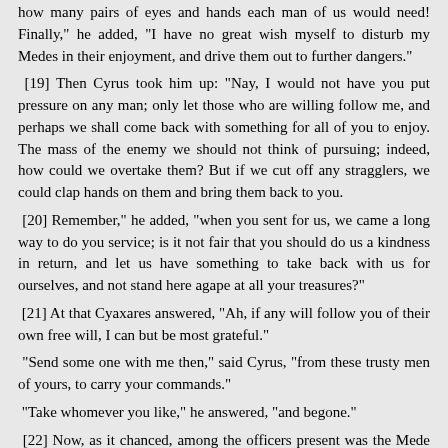how many pairs of eyes and hands each man of us would need! Finally," he added, "I have no great wish myself to disturb my Medes in their enjoyment, and drive them out to further dangers."
[19] Then Cyrus took him up: "Nay, I would not have you put pressure on any man; only let those who are willing follow me, and perhaps we shall come back with something for all of you to enjoy. The mass of the enemy we should not think of pursuing; indeed, how could we overtake them? But if we cut off any stragglers, we could clap hands on them and bring them back to you.
[20] Remember," he added, "when you sent for us, we came a long way to do you service; is it not fair that you should do us a kindness in return, and let us have something to take back with us for ourselves, and not stand here agape at all your treasures?"
[21] At that Cyaxares answered, "Ah, if any will follow you of their own free will, I can but be most grateful."
"Send some one with me then," said Cyrus, "from these trusty men of yours, to carry your commands."
"Take whomever you like," he answered, "and begone."
[22] Now, as it chanced, among the officers present was the Mede who had claimed kinship with Cyrus long ago and won a kiss thereby. Cyrus pointed to him and said, "That man will do for me." "He shall go with you then," Cyaxares replied. And turning to the officer, "Tell your fellows," he said, "that he who lists may follow